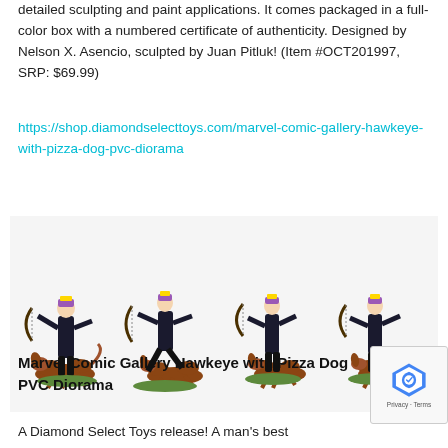detailed sculpting and paint applications. It comes packaged in a full-color box with a numbered certificate of authenticity. Designed by Nelson X. Asencio, sculpted by Juan Pitluk! (Item #OCT201997, SRP: $69.99)
https://shop.diamondselecttoys.com/marvel-comic-gallery-hawkeye-with-pizza-dog-pvc-diorama
[Figure (photo): Four views of the Marvel Comic Gallery Hawkeye with Pizza Dog PVC Diorama showing Hawkeye in black costume with bow and arrow alongside a brown dog, from different angles, on a green rocky base.]
Marvel Comic Gallery Hawkeye with Pizza Dog PVC Diorama
A Diamond Select Toys release! A man's best